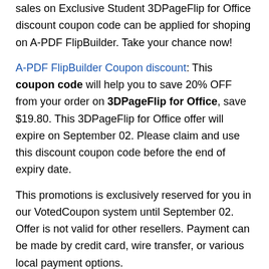sales on Exclusive Student 3DPageFlip for Office discount coupon code can be applied for shoping on A-PDF FlipBuilder. Take your chance now!
A-PDF FlipBuilder Coupon discount: This coupon code will help you to save 20% OFF from your order on 3DPageFlip for Office, save $19.80. This 3DPageFlip for Office offer will expire on September 02. Please claim and use this discount coupon code before the end of expiry date.
This promotions is exclusively reserved for you in our VotedCoupon system until September 02. Offer is not valid for other resellers. Payment can be made by credit card, wire transfer, or various local payment options.